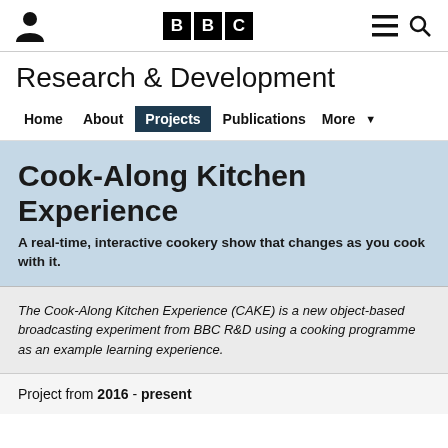BBC Research & Development — navigation header
Research & Development
Home  About  Projects  Publications  More
Cook-Along Kitchen Experience
A real-time, interactive cookery show that changes as you cook with it.
The Cook-Along Kitchen Experience (CAKE) is a new object-based broadcasting experiment from BBC R&D using a cooking programme as an example learning experience.
Project from 2016 - present